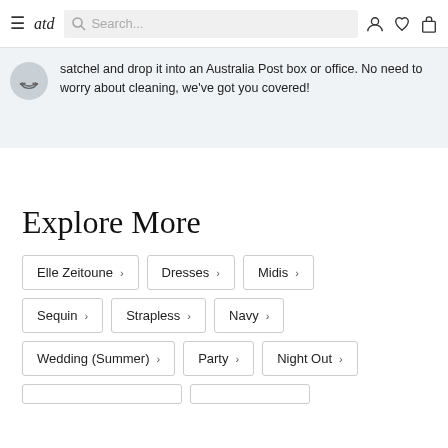atd — Search bar — user, wishlist, cart icons
satchel and drop it into an Australia Post box or office. No need to worry about cleaning, we've got you covered!
Explore More
Elle Zeitoune
Dresses
Midis
Sequin
Strapless
Navy
Wedding (Summer)
Party
Night Out